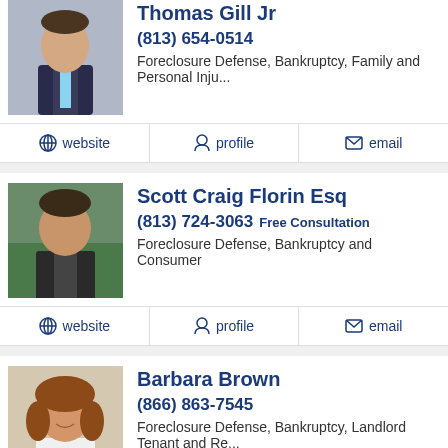Thomas Gill Jr
(813) 654-0514
Foreclosure Defense, Bankruptcy, Family and Personal Inju...
website | profile | email
Scott Craig Florin Esq
(813) 724-3063 Free Consultation
Foreclosure Defense, Bankruptcy and Consumer
website | profile | email
Barbara Brown
(866) 863-7545
Foreclosure Defense, Bankruptcy, Landlord Tenant and Re...
website | profile | email